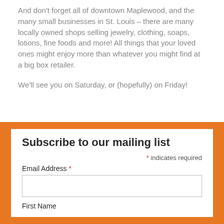And don't forget all of downtown Maplewood, and the many small businesses in St. Louis – there are many locally owned shops selling jewelry, clothing, soaps, lotions, fine foods and more! All things that your loved ones might enjoy more than whatever you might find at a big box retailer.
We'll see you on Saturday, or (hopefully) on Friday!
Subscribe to our mailing list
* indicates required
Email Address *
First Name